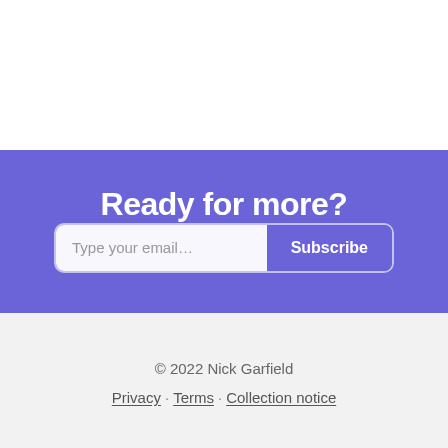Ready for more?
Type your email...
Subscribe
© 2022 Nick Garfield
Privacy · Terms · Collection notice